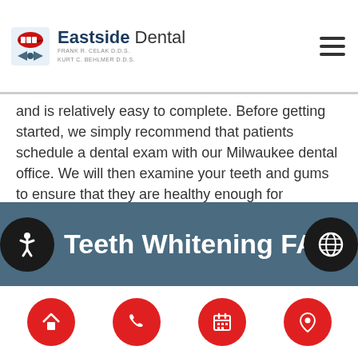Eastside Dental — Frank R. Celak D.D.S. / Kurt C. Behlmer D.D.S.
and is relatively easy to complete. Before getting started, we simply recommend that patients schedule a dental exam with our Milwaukee dental office. We will then examine your teeth and gums to ensure that they are healthy enough for whitening. This way if any cavities or infections exist they can be treated first. To learn more or to get started, call (414) 253-3241 and schedule your appointment.
Teeth Whitening FAQ